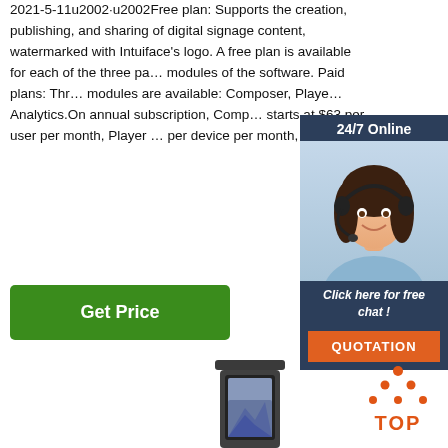2021-5-11u2002·u2002Free plan: Supports the creation, publishing, and sharing of digital signage content, watermarked with Intuiface's logo. A free plan is available for each of the three pa… modules of the software. Paid plans: Thr… modules are available: Composer, Playe… Analytics.On annual subscription, Comp… starts at $63 per user per month, Player … per device per month, …
[Figure (photo): Live chat widget showing a woman with a headset, '24/7 Online' header, 'Click here for free chat!' text, and a QUOTATION button in orange]
[Figure (other): Green 'Get Price' button]
[Figure (photo): Digital signage kiosk device — dark rectangular freestanding display unit]
[Figure (other): TOP badge with orange dots arranged in triangle and TOP text in orange]